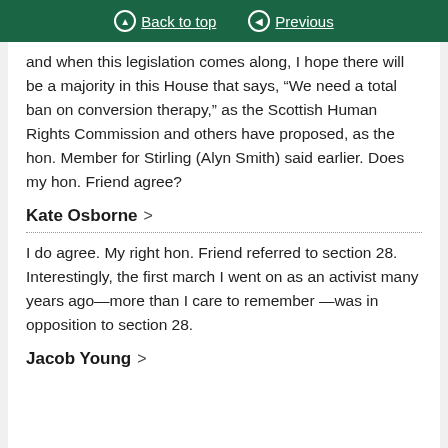Back to top   Previous
and when this legislation comes along, I hope there will be a majority in this House that says, “We need a total ban on conversion therapy,” as the Scottish Human Rights Commission and others have proposed, as the hon. Member for Stirling (Alyn Smith) said earlier. Does my hon. Friend agree?
Kate Osborne >
I do agree. My right hon. Friend referred to section 28. Interestingly, the first march I went on as an activist many years ago—more than I care to remember —was in opposition to section 28.
Jacob Young >